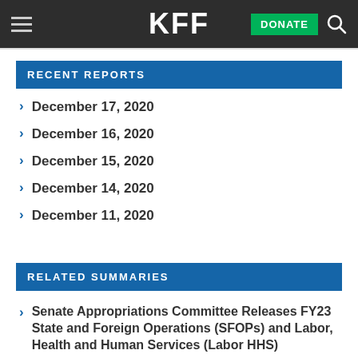KFF | DONATE
RECENT REPORTS
December 17, 2020
December 16, 2020
December 15, 2020
December 14, 2020
December 11, 2020
RELATED SUMMARIES
Senate Appropriations Committee Releases FY23 State and Foreign Operations (SFOPs) and Labor, Health and Human Services (Labor HHS)